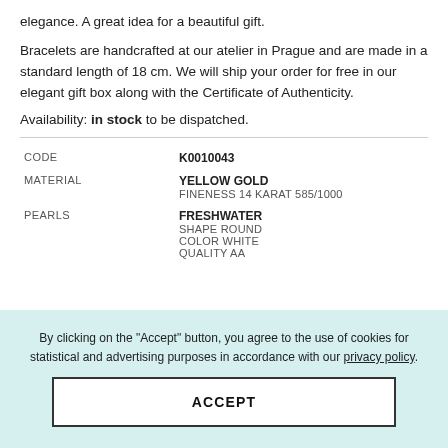elegance. A great idea for a beautiful gift.
Bracelets are handcrafted at our atelier in Prague and are made in a standard length of 18 cm. We will ship your order for free in our elegant gift box along with the Certificate of Authenticity.
Availability: in stock to be dispatched.
| Attribute | Value |
| --- | --- |
| CODE | K0010043 |
| MATERIAL | YELLOW GOLD
FINENESS 14 karat 585/1000 |
| PEARLS | FRESHWATER
SHAPE round
COLOR white
QUALITY AA |
By clicking on the "Accept" button, you agree to the use of cookies for statistical and advertising purposes in accordance with our privacy policy.
ACCEPT